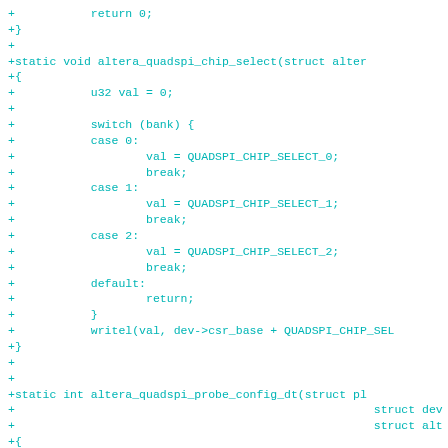Code diff showing C functions altera_quadspi_chip_select and altera_quadspi_probe_config_dt